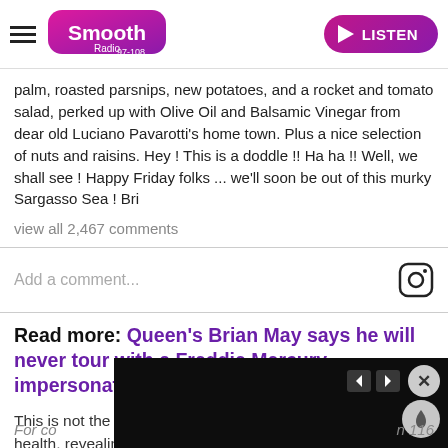Smooth Radio 97-108 | LISTEN
palm, roasted parsnips, new potatoes, and a rocket and tomato salad, perked up with Olive Oil and Balsamic Vinegar from dear old Luciano Pavarotti's home town. Plus a nice selection of nuts and raisins. Hey ! This is a doddle !! Ha ha !! Well, we shall see ! Happy Friday folks ... we'll soon be out of this murky Sargasso Sea ! Bri
view all 2,467 comments
Add a comment...
Read more: Queen's Brian May says he will never tour with a Freddie Mercury impersonator
This is not the first time Brian has spoken about mental health, revealing in 2011 how he "didn't want to live" in the months following the deaths of Queen frontman Freddie Mercury and his father.
For co… n 116